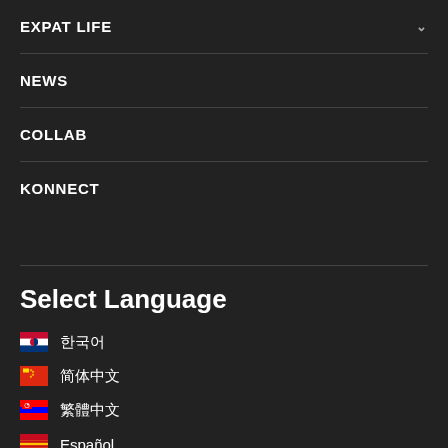EXPAT LIFE
NEWS
COLLAB
KONNECT
Select Language
한국어
简体中文
繁體中文
Español